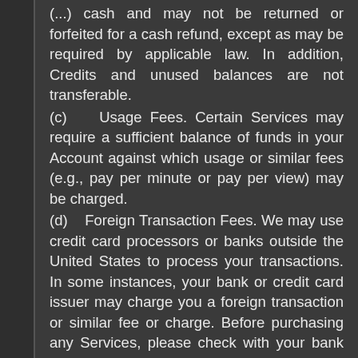(...) cash and may not be returned or forfeited for a cash refund, except as may be required by applicable law. In addition, Credits and unused balances are not transferable.
(c) Usage Fees. Certain Services may require a sufficient balance of funds in your Account against which usage or similar fees (e.g., pay per minute or pay per view) may be charged.
(d) Foreign Transaction Fees. We may use credit card processors or banks outside the United States to process your transactions. In some instances, your bank or credit card issuer may charge you a foreign transaction or similar fee or charge. Before purchasing any Services, please check with your bank or credit card issuer